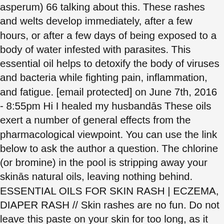asperum) 66 talking about this. These rashes and welts develop immediately, after a few hours, or after a few days of being exposed to a body of water infested with parasites. This essential oil helps to detoxify the body of viruses and bacteria while fighting pain, inflammation, and fatigue. [email protected] on June 7th, 2016 - 8:55pm Hi I healed my husbandās These oils exert a number of general effects from the pharmacological viewpoint. You can use the link below to ask the author a question. The chlorine (or bromine) in the pool is stripping away your skinās natural oils, leaving nothing behind. ESSENTIAL OILS FOR SKIN RASH | ECZEMA, DIAPER RASH // Skin rashes are no fun. Do not leave this paste on your skin for too long, as it could cause more irritation. Not only are essential oils extremely versatile but many also contain naturally occurring constituents that are practically made for one particular usage: beautifying the skin. In addition, topical use of the clear gel of the aloe plant may soothe the itch of cercarial dermatitis and other skin problems. If you expect to achieve results similar to those described in this healing article, you must that you are using oils of...